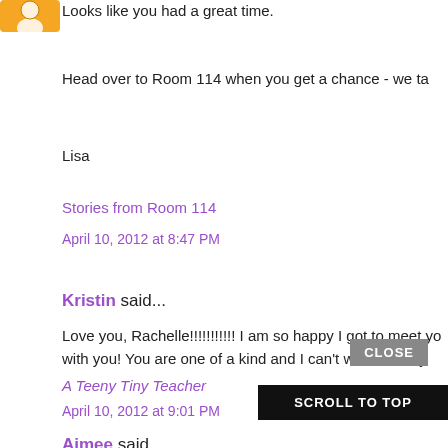[Figure (illustration): Partial avatar icon, orange/yellow colored user avatar cropped at top-left]
Looks like you had a great time.
Head over to Room 114 when you get a chance - we ta
Lisa
Stories from Room 114
April 10, 2012 at 8:47 PM
Kristin said...
Love you, Rachelle!!!!!!!!!!! I am so happy I got to meet yo with you! You are one of a kind and I can't wait to see y
A Teeny Tiny Teacher
April 10, 2012 at 9:01 PM
Aimee said...
I'm definitely liking the idea of a Vegas meet up, and it
CLOSE
SCROLL TO TOP